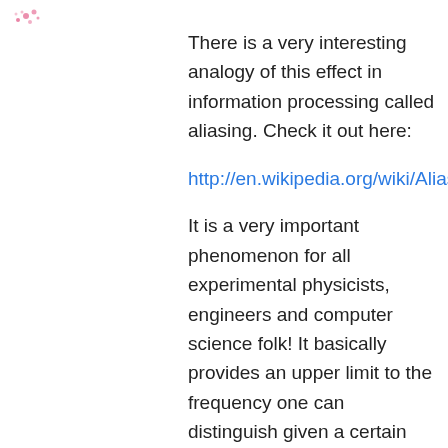[Figure (illustration): Small decorative icon with pink/red dots and marks in the top-left corner]
There is a very interesting analogy of this effect in information processing called aliasing. Check it out here:
http://en.wikipedia.org/wiki/Aliasing
It is a very important phenomenon for all experimental physicists, engineers and computer science folk! It basically provides an upper limit to the frequency one can distinguish given a certain sampling frequency (the frequency at which one “observes” something). It provides another way of thinking about the wagon wheel example above – it is too lengthy to explain in more detail in a comment (you could do a whole post on it!) but I though I should at least mention it.